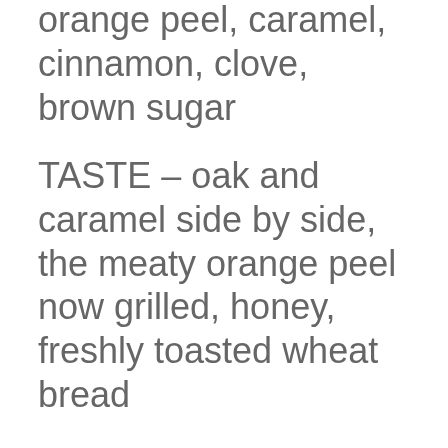orange peel, caramel, cinnamon, clove, brown sugar
TASTE – oak and caramel side by side, the meaty orange peel now grilled, honey, freshly toasted wheat bread
FINISH – warm and tingly, butter, caramel, oak, with oak tannins that outlast the sweets and fruits...
OVERALL – a very pleasing mix of oak, caramels, cinnamons, and fruits, united by toasted